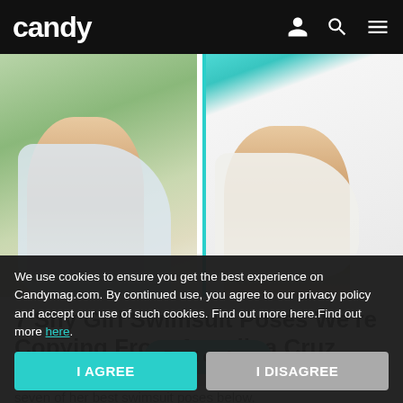candy
[Figure (photo): Two-panel photo: left shows a woman in a blue bikini top with a white sarong wrap skirt posing outdoors with greenery background; right shows a woman in a yellow bikini with a white open shirt seated indoors with a teal border accent.]
7 Shy Girl Swimsuit Poses We're Copying From Angelina Cruz
If you want to be a certified beach girl like Angelina, check out seven of her best swimsuit poses below.
Read on App
We use cookies to ensure you get the best experience on Candymag.com. By continued use, you agree to our privacy policy and accept our use of such cookies. Find out more here.Find out more here.
I AGREE
I DISAGREE